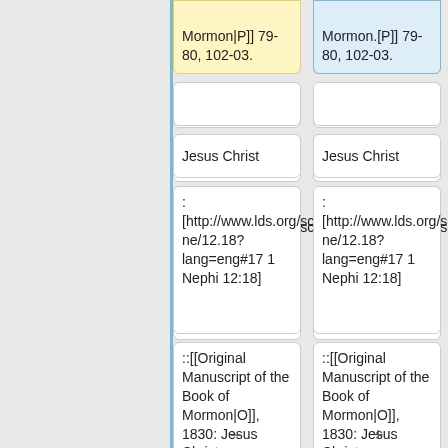Mormon|P]] 79-80, 102-03.
Mormon.[P]] 79-80, 102-03.
Jesus Christ
Jesus Christ
: [http://www.lds.org/scriptures/bofm/1-ne/12.18?lang=eng#17 1 Nephi 12:18]
: [http://www.lds.org/scriptures/bofm/1-ne/12.18?lang=eng#17 1 Nephi 12:18]
::[[Original Manuscript of the Book of Mormon|O]], 1830: Jesus Christ
::[[Original Manuscript of the Book of Mormon|O]], 1830: Jesus Christ
::[[Printer's Manuscript of the Book of Mormon|P]]
::[[Printer's Manuscript of the Book of Mormon|P]]